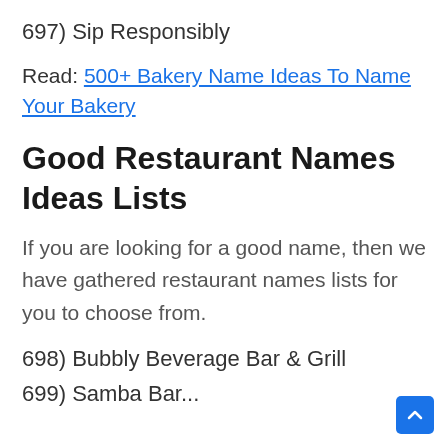697) Sip Responsibly
Read: 500+ Bakery Name Ideas To Name Your Bakery
Good Restaurant Names Ideas Lists
If you are looking for a good name, then we have gathered restaurant names lists for you to choose from.
698) Bubbly Beverage Bar & Grill
699) Samba Bar...